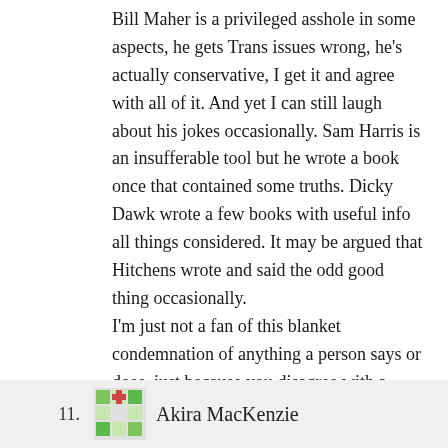Bill Maher is a privileged asshole in some aspects, he gets Trans issues wrong, he's actually conservative, I get it and agree with all of it. And yet I can still laugh about his jokes occasionally. Sam Harris is an insufferable tool but he wrote a book once that contained some truths. Dicky Dawk wrote a few books with useful info all things considered. It may be argued that Hitchens wrote and said the odd good thing occasionally.
I'm just not a fan of this blanket condemnation of anything a person says or does, just because you disagree with a certain slice of it. It's possible to laugh over a Maher joke, and rip him a new one over shit he says.
11. Akira MacKenzie